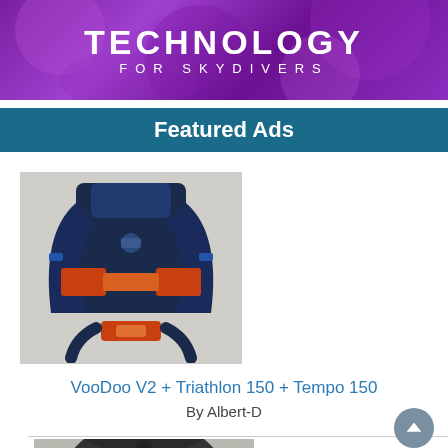[Figure (logo): Purple/magenta banner with text TECHNOLOGY FOR SKYDIVERS in white letters over a skydiving-themed background]
Featured Ads
[Figure (photo): Photo of a blue and orange skydiving harness/rig (VooDoo V2) with straps spread out, viewed from behind]
VooDoo V2 + Triathlon 150 + Tempo 150
By Albert-D
[Figure (photo): Partial photo of a black skydiving harness/rig at the bottom of the page]